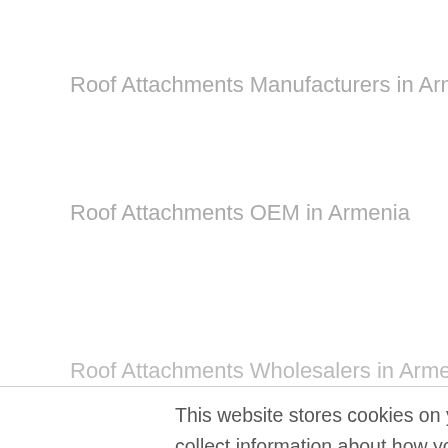Roof Attachments Manufacturers in Armenia
Roof Attachments OEM in Armenia
Roof Attachments Wholesalers in Armenia
This website stores cookies on your computer. These cookies are used to collect information about how you interact with our website and allow us to remember you. We use this information in order to improve and customize your browsing experience and for analytics and metrics about our visitors both on this website and other media. To find out more about the cookies we use, see our Privacy Policy
If you decline, your information won’t be tracked when you visit this website. A single cookie will be used in your browser to remember your preference not to be tracked.
Accept
Decline